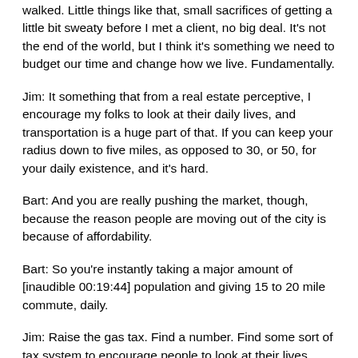walked. Little things like that, small sacrifices of getting a little bit sweaty before I met a client, no big deal. It's not the end of the world, but I think it's something we need to budget our time and change how we live. Fundamentally.
Jim: It something that from a real estate perceptive, I encourage my folks to look at their daily lives, and transportation is a huge part of that. If you can keep your radius down to five miles, as opposed to 30, or 50, for your daily existence, and it's hard.
Bart: And you are really pushing the market, though, because the reason people are moving out of the city is because of affordability.
Bart: So you're instantly taking a major amount of [inaudible 00:19:44] population and giving 15 to 20 mile commute, daily.
Jim: Raise the gas tax. Find a number. Find some sort of tax system to encourage people to look at their lives differently.
Bart: There's a guy who's about to go buy a new hybrid vehicle early